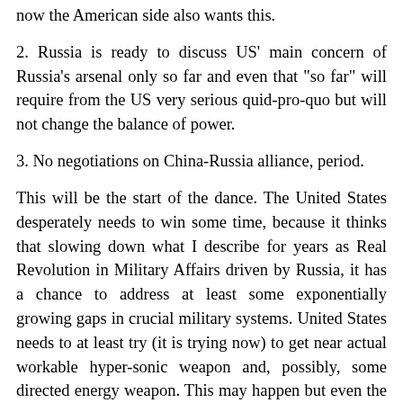now the American side also wants this.
2. Russia is ready to discuss US' main concern of Russia's arsenal only so far and even that "so far" will require from the US very serious quid-pro-quo but will not change the balance of power.
3. No negotiations on China-Russia alliance, period.
This will be the start of the dance. The United States desperately needs to win some time, because it thinks that slowing down what I describe for years as Real Revolution in Military Affairs driven by Russia, it has a chance to address at least some exponentially growing gaps in crucial military systems. United States needs to at least try (it is trying now) to get near actual workable hyper-sonic weapon and, possibly, some directed energy weapon. This may happen but even the brief review of preliminary results and progress confirm what many Russian weapons